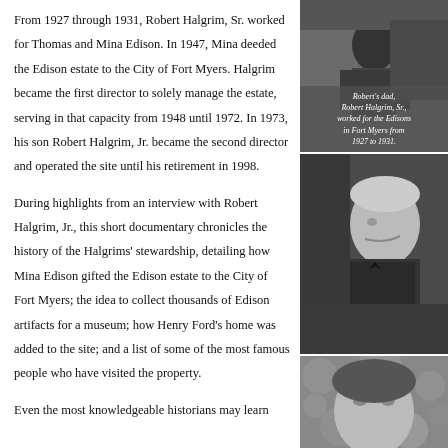From 1927 through 1931, Robert Halgrim, Sr. worked for Thomas and Mina Edison. In 1947, Mina deeded the Edison estate to the City of Fort Myers. Halgrim became the first director to solely manage the estate, serving in that capacity from 1948 until 1972. In 1973, his son Robert Halgrim, Jr. became the second director and operated the site until his retirement in 1998.
[Figure (photo): Black and white photo of Robert Halgrim Sr. with caption: Robert's dad, Robert Halgrim, Sr., worked for the Edisons in Fort Myers from 1927 to 1931.]
During highlights from an interview with Robert Halgrim, Jr., this short documentary chronicles the history of the Halgrims' stewardship, detailing how Mina Edison gifted the Edison estate to the City of Fort Myers; the idea to collect thousands of Edison artifacts for a museum; how Henry Ford’s home was added to the site; and a list of some of the most famous people who have visited the property.
[Figure (photo): Black and white profile photo of Thomas Edison, an elderly man.]
[Figure (photo): Black and white close-up photo of a young person.]
Even the most knowledgeable historians may learn